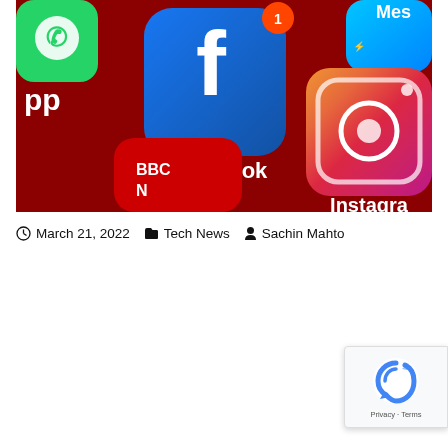[Figure (photo): Close-up photo of a smartphone screen showing social media app icons including WhatsApp, Facebook (with notification badge showing '1'), Messenger, Instagram, and BBC News on a dark red/maroon background.]
March 21, 2022   Tech News   Sachin Mahto
[Figure (logo): reCAPTCHA badge with Google reCAPTCHA logo and 'Privacy - Terms' text]